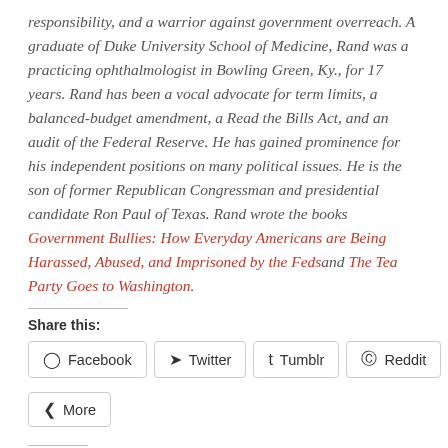responsibility, and a warrior against government overreach. A graduate of Duke University School of Medicine, Rand was a practicing ophthalmologist in Bowling Green, Ky., for 17 years. Rand has been a vocal advocate for term limits, a balanced-budget amendment, a Read the Bills Act, and an audit of the Federal Reserve. He has gained prominence for his independent positions on many political issues. He is the son of former Republican Congressman and presidential candidate Ron Paul of Texas. Rand wrote the books Government Bullies: How Everyday Americans are Being Harassed, Abused, and Imprisoned by the Feds and The Tea Party Goes to Washington.
Share this:
Facebook
Twitter
Tumblr
Reddit
More